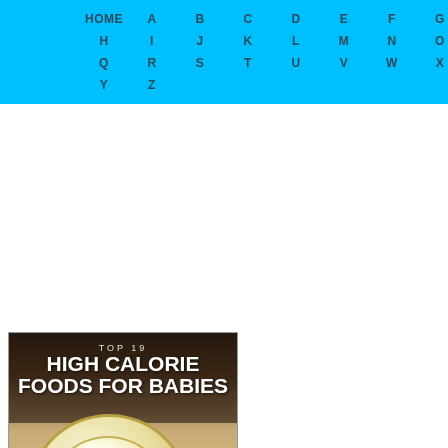HOME A B C D E F G H I J K L M N O P Q R S T U V W X Y Z
[Figure (photo): Image of banana slices on wooden surface with text 'TOP 19 HIGH CALORIE FOODS FOR BABIES' overlaid at top]
The Best High Calorie Foods For Babies Your Kids Table
[Figure (table-as-image): 6 months baby food chart - Swasthi's Recipes showing columns for morning meal, breakfast, Wednesday, lunch, rice/porridge, dinner/evening, sleep with formula milk entries]